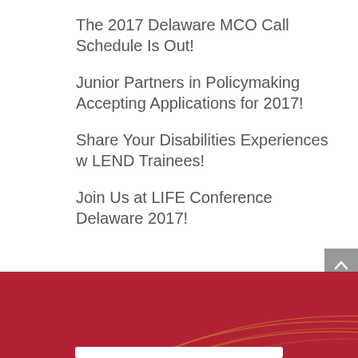The 2017 Delaware MCO Call Schedule Is Out!
Junior Partners in Policymaking Accepting Applications for 2017!
Share Your Disabilities Experiences w LEND Trainees!
Join Us at LIFE Conference Delaware 2017!
[Figure (illustration): Dark red/crimson footer background with decorative curved golden/orange lines and a small white rounded bar at the bottom center]